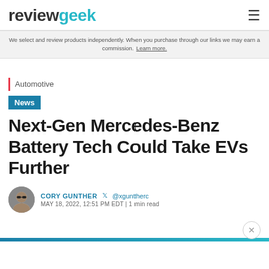reviewgeek
We select and review products independently. When you purchase through our links we may earn a commission. Learn more.
Automotive
News
Next-Gen Mercedes-Benz Battery Tech Could Take EVs Further
CORY GUNTHER @xguntherc MAY 18, 2022, 12:51 PM EDT | 1 min read